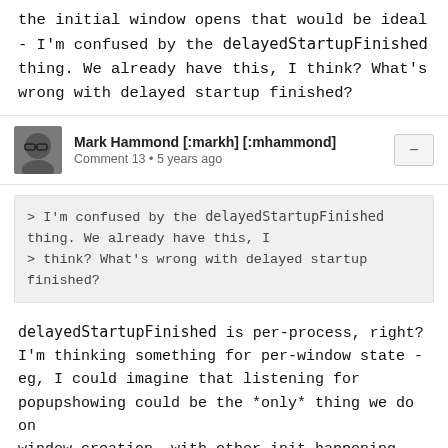the initial window opens that would be ideal - I'm confused by the delayedStartupFinished thing. We already have this, I think? What's wrong with delayed startup finished?
Mark Hammond [:markh] [:mhammond]
Comment 13 • 5 years ago
> I'm confused by the delayedStartupFinished thing. We already have this, I
> think? What's wrong with delayed startup finished?
delayedStartupFinished is per-process, right? I'm thinking something for per-window state - eg, I could imagine that listening for popupshowing could be the *only* thing we do on window creation, with other init happening soon after (or by the event handler if necessary)